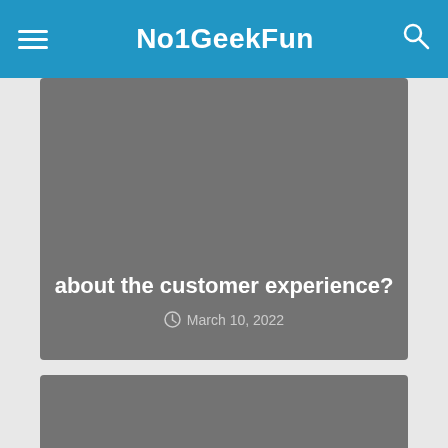No1GeekFun
about the customer experience?
March 10, 2022
MARKETING
mymuesli relies on a sustainable solution
March 10, 2022